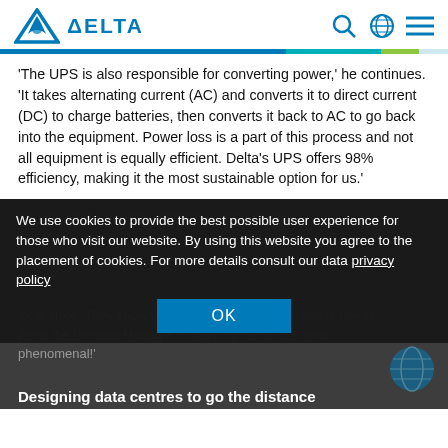Delta
'The UPS is also responsible for converting power,' he continues. 'It takes alternating current (AC) and converts it to direct current (DC) to charge batteries, then converts it back to AC to go back into the equipment. Power loss is a part of this process and not all equipment is equally efficient. Delta's UPS offers 98% efficiency, making it the most sustainable option for us.'
It's not just the equipment that has Hans singing
We use cookies to provide the best possible user experience for those who visit our website. By using this website you agree to the placement of cookies. For more details consult our data privacy policy
local store. They know who I am and what my business needs. Even the General Manager knows my name. It's quite phenomenal!'
Designing data centres to go the distance